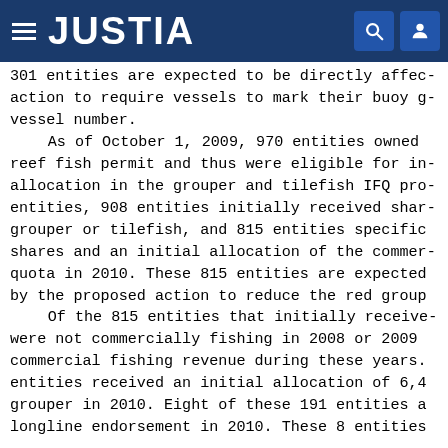JUSTIA
301 entities are expected to be directly affected action to require vessels to mark their buoy gear with their vessel number. As of October 1, 2009, 970 entities owned a reef fish permit and thus were eligible for initial allocation in the grouper and tilefish IFQ program. Of these entities, 908 entities initially received shares of grouper or tilefish, and 815 entities specifically received shares and an initial allocation of the commercial annual quota in 2010. These 815 entities are expected to be affected by the proposed action to reduce the red grouper ACL. Of the 815 entities that initially received shares, 191 were not commercially fishing in 2008 or 2009 and reported no commercial fishing revenue during these years. These 191 entities received an initial allocation of 6,4 grouper in 2010. Eight of these 191 entities also had a longline endorsement in 2010. These 8 entities